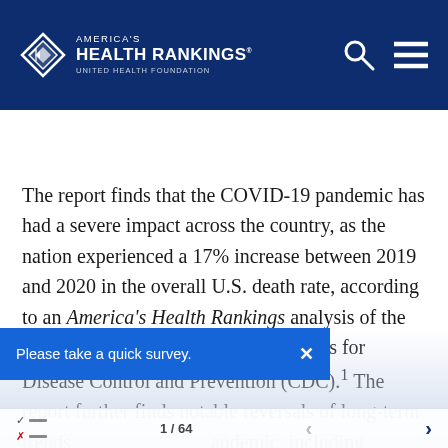America's Health Rankings – United Health Foundation
View Pages
The report finds that the COVID-19 pandemic has had a severe impact across the country, as the nation experienced a 17% increase between 2019 and 2020 in the overall U.S. death rate, according to an America's Health Rankings analysis of the latest provisional data from the Centers for Disease Control and Prevention (CDC).¹ The report further finds notable reversals of long-term trends [due to the pandemic, including a notable increase in the number of Americans rating their health was very good or excellent. Americans continue to experience...]
Please take a quick survey.